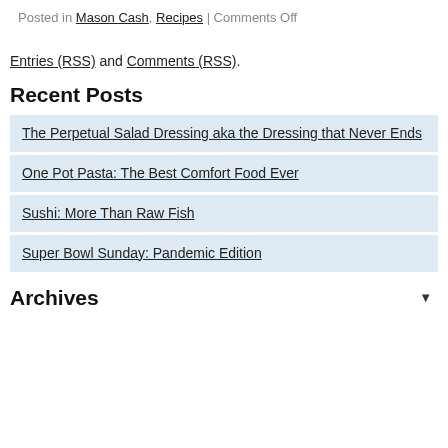Posted in Mason Cash, Recipes | Comments Off
Entries (RSS) and Comments (RSS).
Recent Posts
The Perpetual Salad Dressing aka the Dressing that Never Ends
One Pot Pasta: The Best Comfort Food Ever
Sushi: More Than Raw Fish
Super Bowl Sunday: Pandemic Edition
Archives